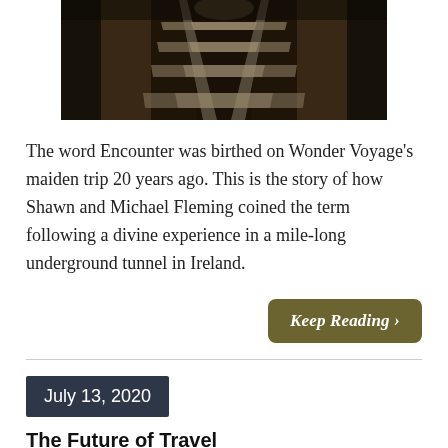[Figure (photo): Railroad tracks receding into darkness, viewed from ground level perspective in a tunnel or dark environment]
The word Encounter was birthed on Wonder Voyage's maiden trip 20 years ago. This is the story of how Shawn and Michael Fleming coined the term following a divine experience in a mile-long underground tunnel in Ireland.
Keep Reading >
July 13, 2020
The Future of Travel